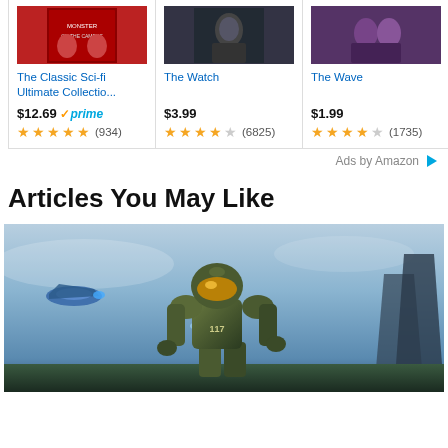[Figure (other): Amazon ad row with three movie/product cards: The Classic Sci-fi Ultimate Collectio... ($12.69 Prime, 4.5 stars, 934 reviews), The Watch ($3.99, 4 stars, 6825 reviews), The Wave ($1.99, 3.5 stars, 1735 reviews)]
Ads by Amazon
Articles You May Like
[Figure (photo): Screenshot of a Halo game scene featuring Master Chief (green armored Spartan soldier with gold visor) in a sci-fi landscape with a blue spacecraft/ship on the left, glowing terrain, and alien structures. The soldier has '117' on the chest.]